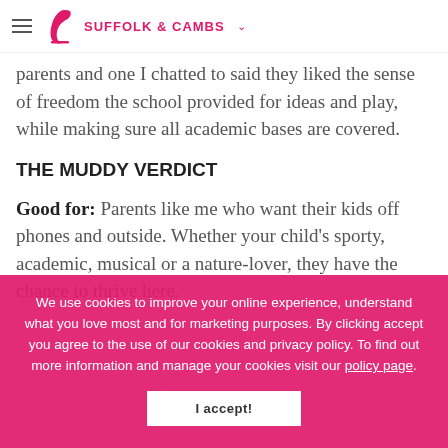SUFFOLK & CAMBS
parents and one I chatted to said they liked the sense of freedom the school provided for ideas and play, while making sure all academic bases are covered.
THE MUDDY VERDICT
Good for: Parents like me who want their kids off phones and outside. Whether your child's sporty, academic, musical or a nature-lover, they have the chance to thrive here.
Not for: Keep reading for my review of the school, with all the latest gadgets and technology for the mentality when it comes to teaching, this isn't for you.
We use cookies to improve your online experience, understand what you love most and for marketing purposes. By clicking accept you agree to the use of our cookies and privacy policy. To find out more information and manage your cookies visit our policy page.